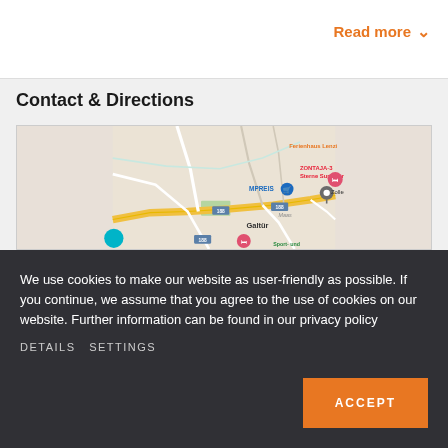Read more ∨
Contact & Directions
[Figure (map): Google Maps view showing Galtür area with road 188, landmarks including MPREIS, ZONTAJA-3 Sterne Superior, Ferienhaus Lenzi, and Zolle visible]
We use cookies to make our website as user-friendly as possible. If you continue, we assume that you agree to the use of cookies on our website. Further information can be found in our privacy policy
DETAILS  SETTINGS
ACCEPT